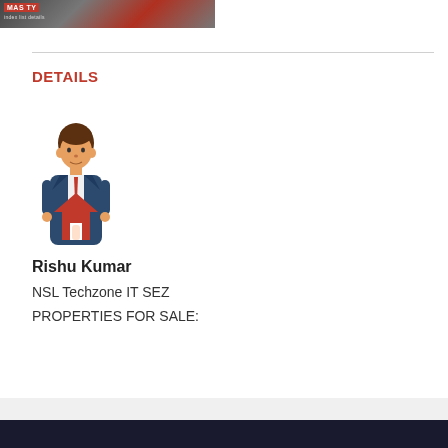[Figure (screenshot): Partial banner image strip with dark and red tones, showing partial text 'MAS TY' and small subtitle text on a red/dark background]
DETAILS
[Figure (illustration): Cartoon illustration of a real estate agent — man with brown hair and skin wearing a suit and tie, holding a red house icon in front of him]
Rishu Kumar
NSL Techzone IT SEZ
PROPERTIES FOR SALE: